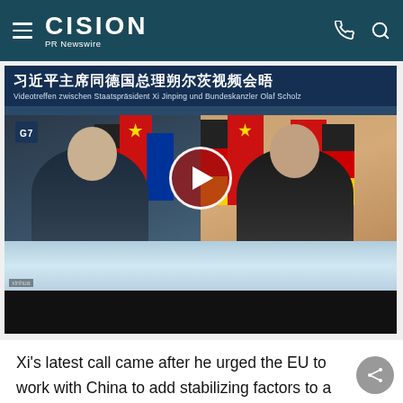CISION PR Newswire
[Figure (screenshot): Video thumbnail showing a virtual meeting between German Chancellor Olaf Scholz (left) and Chinese President Xi Jinping (right), with Chinese and German flags in the background. Title text reads: 习近平主席同德国总理朔尔茨视频会晤 / Videotreffen zwischen Staatspräsident Xi Jinping und Bundeskanzler Olaf Scholz. A play button is overlaid in the center.]
Xi's latest call came after he urged the EU to work with China to add stabilizing factors to a turbulent world during a virtual meeting with the EU chiefs